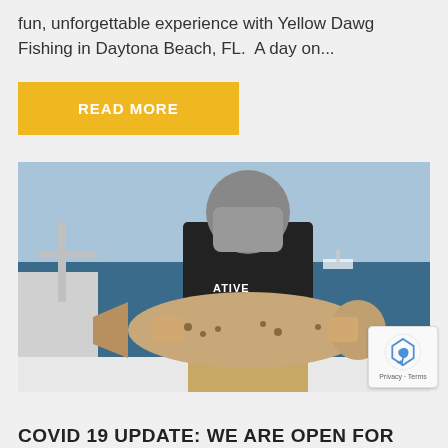fun, unforgettable experience with Yellow Dawg Fishing in Daytona Beach, FL. A day on...
READ MORE
[Figure (photo): A person wearing a face covering and black Native Eyewear shirt standing on a fishing boat, holding a large redfish (red drum) with both hands. Ocean visible in the background.]
COVID 19 UPDATE: WE ARE OPEN FOR